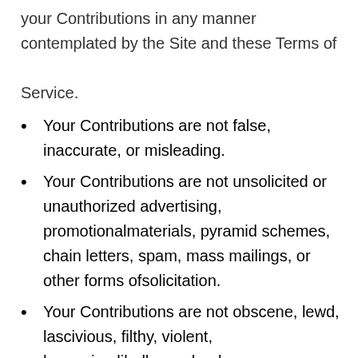your Contributions in any manner contemplated by the Site and these Terms of Service.
Your Contributions are not false, inaccurate, or misleading.
Your Contributions are not unsolicited or unauthorized advertising, promotionalmaterials, pyramid schemes, chain letters, spam, mass mailings, or other forms ofsolicitation.
Your Contributions are not obscene, lewd, lascivious, filthy, violent, harassing,libellous, slanderous, or otherwise objectionable (as